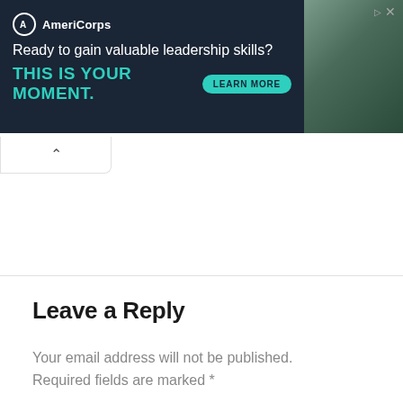[Figure (other): AmeriCorps advertisement banner. Dark navy background with AmeriCorps logo (circle with A), text 'Ready to gain valuable leadership skills?' in white and 'THIS IS YOUR MOMENT.' in teal, with a teal 'LEARN MORE' button. Right side shows a photo of people.]
Leave a Reply
Your email address will not be published. Required fields are marked *